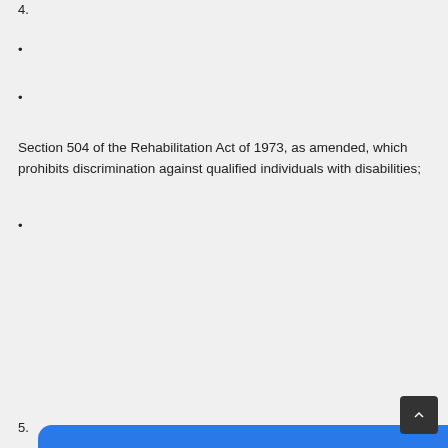4.
•
•
Section 504 of the Rehabilitation Act of 1973, as amended, which prohibits discrimination against qualified individuals with disabilities;
•
[Figure (screenshot): Blue cookie consent banner overlay with text: 'This website uses cookies to ensure you get the best experience on our website. Our partners will collect data and use cookies for ad personalization and measurement.' A link 'Learn how we and our partners collect and use data.' and an OK button.]
5.